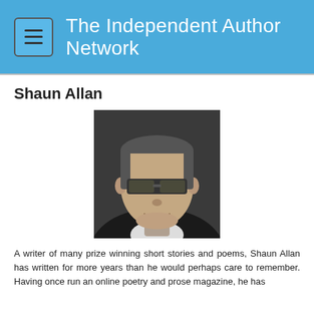The Independent Author Network
Shaun Allan
[Figure (photo): Black and white headshot portrait of Shaun Allan, a man wearing sunglasses and a dark jacket with a white shirt, smiling slightly.]
A writer of many prize winning short stories and poems, Shaun Allan has written for more years than he would perhaps care to remember. Having once run an online poetry and prose magazine, he has